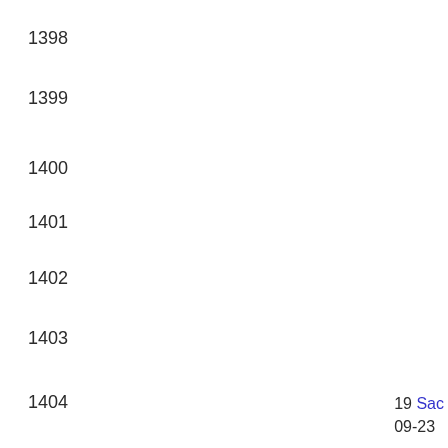1398
1399
1400
1401
1402
1403
1404
19 Sac
09-23